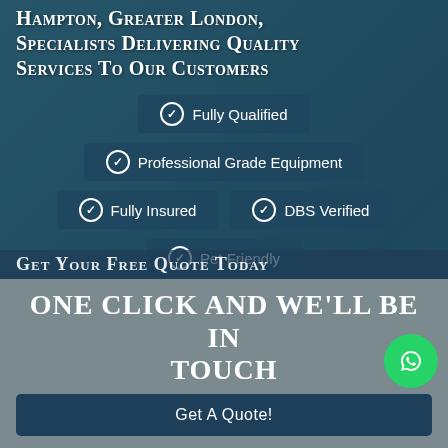Hampton, Greater London, Specialists Delivering Quality Services To Our Customers
Fully Qualified
Professional Grade Equipment
Fully Insured
DBS Verified
Pet Friendly
Get Your Free Quote Today
One click and we'll be in touch
Get A Quote!